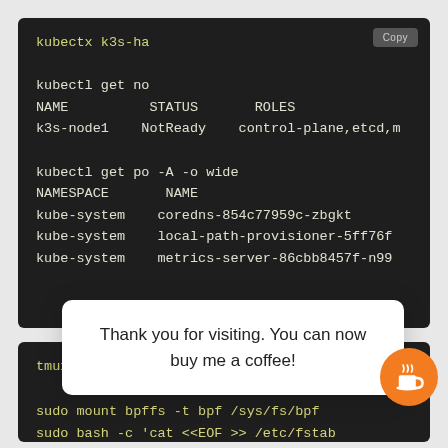[Figure (screenshot): Terminal code block showing kubectl and kubernetes commands: kubectx k3s-ha, kubectl get no with output showing NAME STATUS ROLES and k3s-node1 NotReady control-plane,etcd,m, then kubectl get po -A -o wide with NAMESPACE NAME columns and kube-system pods listed]
Thank you for visiting. You can now buy me a coffee!
[Figure (screenshot): Partial terminal showing tmux and sudo mount bpffs -t bpf /sys/fs/bpf and sudo bash -c 'cat <<EOF >> /etc/fstab commands in yellow monospace text, with a copy button and orange coffee cup button overlaid]